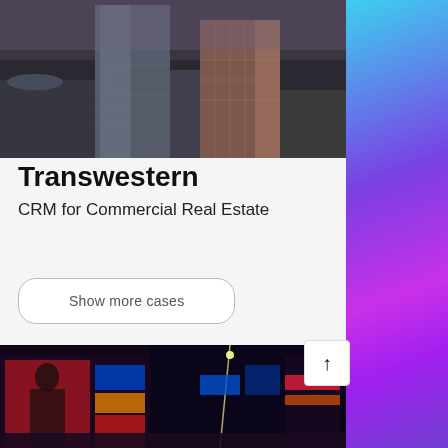[Figure (photo): Aerial view of city skyscrapers and downtown buildings, glass and steel towers]
Transwestern
CRM for Commercial Real Estate
Show more cases
[Figure (photo): Night city scene with illuminated billboards, Times Square style, woman advertisement visible]